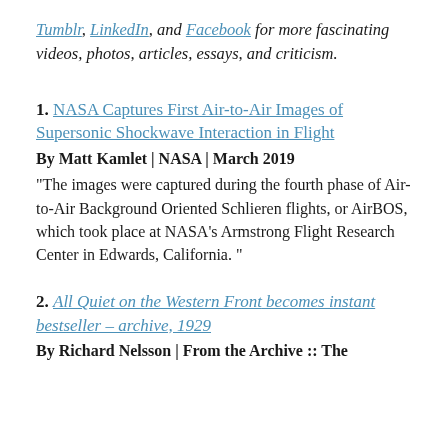Tumblr, LinkedIn, and Facebook for more fascinating videos, photos, articles, essays, and criticism.
1. NASA Captures First Air-to-Air Images of Supersonic Shockwave Interaction in Flight
By Matt Kamlet | NASA | March 2019
"The images were captured during the fourth phase of Air-to-Air Background Oriented Schlieren flights, or AirBOS, which took place at NASA's Armstrong Flight Research Center in Edwards, California."
2. All Quiet on the Western Front becomes instant bestseller – archive, 1929
By Richard Nelsson | From the Archive :: The